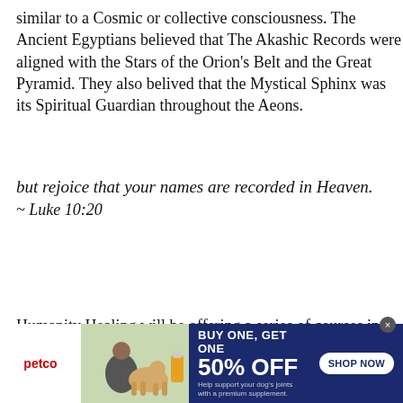similar to a Cosmic or collective consciousness.  The Ancient Egyptians believed that The Akashic Records were aligned with the Stars of the Orion's Belt and the Great Pyramid.  They also belived that the Mystical Sphinx was its Spiritual Guardian throughout the Aeons.
but rejoice that your names are recorded in Heaven.
~ Luke 10:20
Humanity Healing will be offering a series of courses in how to access and interpret the Akashic Records.  To
ic Record
Our site uses cookies. Learn more about our use of cookies: cookie policy
[Figure (screenshot): Petco advertisement banner: BUY ONE, GET ONE 50% OFF. Help support your dog's joints with a premium supplement. SHOP NOW button. Shows a woman with a golden retriever and supplement bottles.]